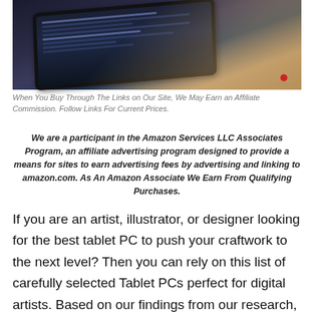[Figure (photo): Photo of a tablet PC/laptop on a textured surface, dark screen with interface visible, warm sandy/coral tones in background]
When You Buy Through The Links on Our Site, We May Earn an Affiliate Commission. Follow Links For Current Prices.
We are a participant in the Amazon Services LLC Associates Program, an affiliate advertising program designed to provide a means for sites to earn advertising fees by advertising and linking to amazon.com. As An Amazon Associate We Earn From Qualifying Purchases.
If you are an artist, illustrator, or designer looking for the best tablet PC to push your craftwork to the next level? Then you can rely on this list of carefully selected Tablet PCs perfect for digital artists. Based on our findings from our research, we recommend the